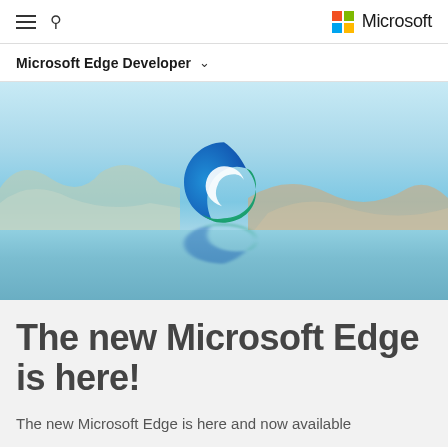Microsoft
Microsoft Edge Developer
[Figure (photo): Microsoft Edge browser logo (swirl of blue and green) floating above a calm blue lake with mountains in the background]
The new Microsoft Edge is here!
The new Microsoft Edge is here and now available